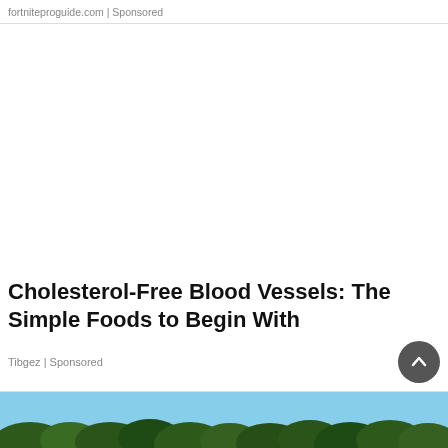fortniteproguide.com | Sponsored
[Figure (photo): Large blank white advertisement image placeholder area]
Cholesterol-Free Blood Vessels: The Simple Foods to Begin With
Tibgez | Sponsored
[Figure (photo): Outdoor nature scene with trees and blue sky, partially visible at bottom of page]